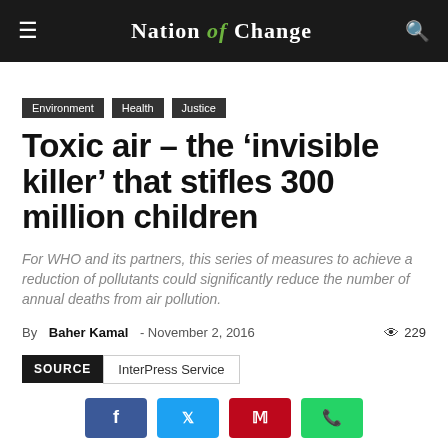Nation of Change
Environment
Health
Justice
Toxic air – the ‘invisible killer’ that stifles 300 million children
For WHO and its partners, this series of measures to achieve a reduction of pollutants could significantly reduce the number of annual deaths from air pollution.
By Baher Kamal - November 2, 2016  229
SOURCE  InterPress Service